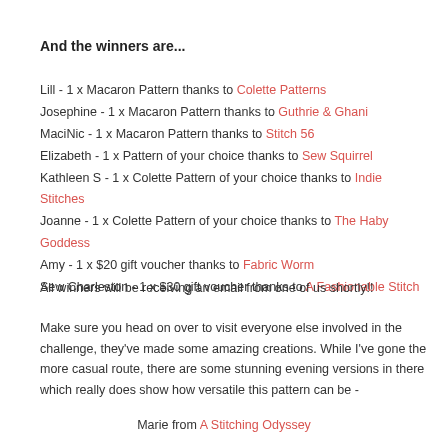And the winners are...
Lill - 1 x Macaron Pattern thanks to Colette Patterns
Josephine - 1 x Macaron Pattern thanks to Guthrie & Ghani
MaciNic - 1 x Macaron Pattern thanks to Stitch 56
Elizabeth - 1 x Pattern of your choice thanks to Sew Squirrel
Kathleen S - 1 x Colette Pattern of your choice thanks to Indie Stitches
Joanne - 1 x Colette Pattern of your choice thanks to The Haby Goddess
Amy - 1 x $20 gift voucher thanks to Fabric Worm
Sew Charleston - 1 x $30 gift voucher thanks to A Fashionable Stitch
All winners will be receiving an email from one of us shortly!!
Make sure you head on over to visit everyone else involved in the challenge, they've made some amazing creations. While I've gone the more casual route, there are some stunning evening versions in there which really does show how versatile this pattern can be -
Marie from A Stitching Odyssey